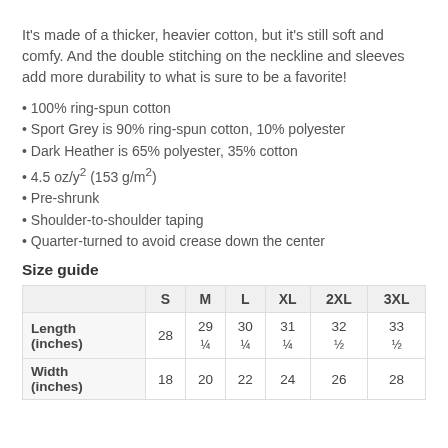It's made of a thicker, heavier cotton, but it's still soft and comfy. And the double stitching on the neckline and sleeves add more durability to what is sure to be a favorite!
100% ring-spun cotton
Sport Grey is 90% ring-spun cotton, 10% polyester
Dark Heather is 65% polyester, 35% cotton
4.5 oz/y² (153 g/m²)
Pre-shrunk
Shoulder-to-shoulder taping
Quarter-turned to avoid crease down the center
Size guide
|  | S | M | L | XL | 2XL | 3XL |
| --- | --- | --- | --- | --- | --- | --- |
| Length (inches) | 28 | 29 ¼ | 30 ¼ | 31 ¼ | 32 ½ | 33 ½ |
| Width (inches) | 18 | 20 | 22 | 24 | 26 | 28 |